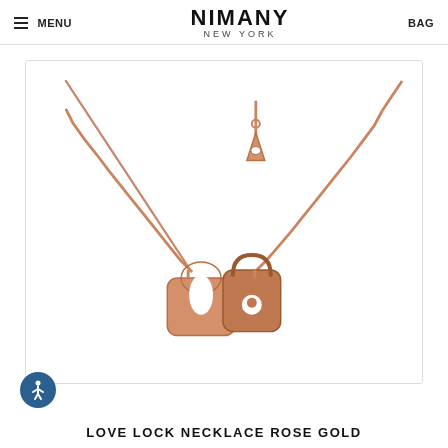MENU | NIMANY NEW YORK | BAG
[Figure (photo): Rose gold Love Lock necklace on white background. The necklace features a delicate rose gold chain with a small triangular pendant at the top center, and two interlocking lock-shaped charms at the bottom center of the chain.]
LOVE LOCK NECKLACE ROSE GOLD